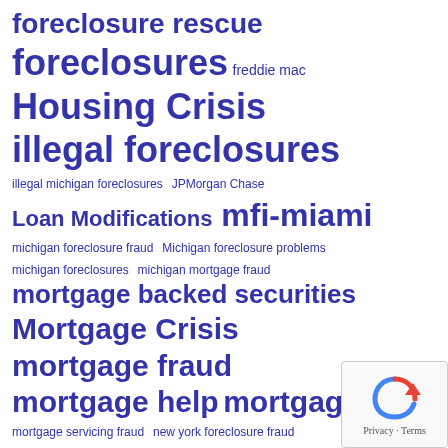[Figure (other): Word cloud of mortgage and foreclosure related terms in varying blue font sizes, indicating tag frequency/importance. Terms include: foreclosure rescue, foreclosures, freddie mac, Housing Crisis, illegal foreclosures, illegal michigan foreclosures, JPMorgan Chase, Loan Modifications, mfi-miami, michigan foreclosure fraud, Michigan foreclosure problems, michigan foreclosures, michigan mortgage fraud, mortgage backed securities, Mortgage Crisis, mortgage fraud, mortgage help, mortgages, mortgage servicing fraud, new york foreclosure fraud, new york foreclosures, new york fraud, new york mortgage fraud, robo-signing, Steve Dibert, Wall Street, Wells Fargo]
[Figure (other): Google reCAPTCHA widget in lower right corner showing recycle/refresh icon]